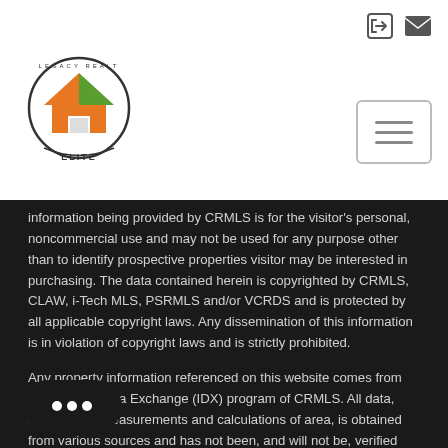[Figure (logo): Legacy Realty Elite circular logo with house icon in orange and green colors]
information being provided by CRMLS is for the visitor's personal, noncommercial use and may not be used for any purpose other than to identify prospective properties visitor may be interested in purchasing. The data contained herein is copyrighted by CRMLS, CLAW, i-Tech MLS, PSRMLS and/or VCRDS and is protected by all applicable copyright laws. Any dissemination of this information is in violation of copyright laws and is strictly prohibited.
Any property information referenced on this website comes from the Internet Data Exchange (IDX) program of CRMLS. All data, including all measurements and calculations of area, is obtained from various sources and has not been, and will not be, verified